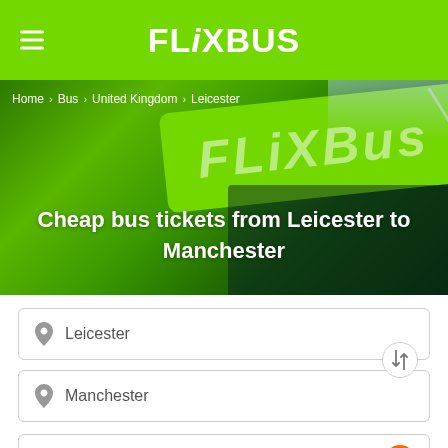FLiXBUS
[Figure (photo): FlixBus vehicle with green branding stripe, used as hero background image]
Home > Bus > United Kingdom > Leicester
Cheap bus tickets from Leicester to Manchester
Leicester
Manchester
Mon, 5 Sep